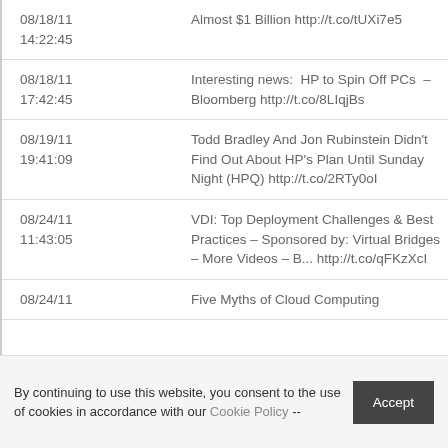| Date/Time | Content |
| --- | --- |
| 08/18/11 14:22:45 | Almost $1 Billion http://t.co/tUXi7e5 |
| 08/18/11 17:42:45 | Interesting news:  HP to Spin Off PCs  – Bloomberg http://t.co/8LIqjBs |
| 08/19/11 19:41:09 | Todd Bradley And Jon Rubinstein Didn't Find Out About HP's Plan Until Sunday Night (HPQ) http://t.co/2RTy0oI |
| 08/24/11 11:43:05 | VDI: Top Deployment Challenges & Best Practices – Sponsored by: Virtual Bridges – More Videos – B... http://t.co/qFKzXcI |
| 08/24/11 | Five Myths of Cloud Computing |
By continuing to use this website, you consent to the use of cookies in accordance with our Cookie Policy -- Accept